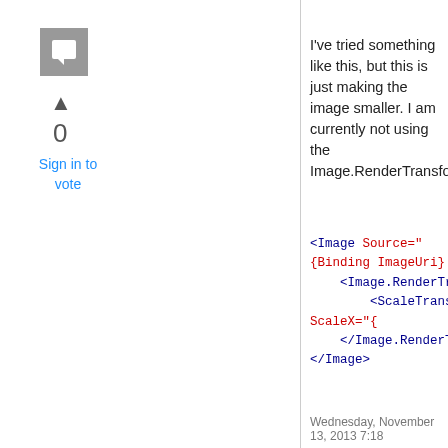[Figure (logo): Grey square icon with white chat/comment symbol]
▲
0
Sign in to vote
I've tried something like this, but this is just making the image smaller. I am currently not using the Image.RenderTransform.
<Image Source="{Binding ImageUri}"
    <Image.RenderTransform>
        <ScaleTransform ScaleX="{
    </Image.RenderTransform>
</Image>
Wednesday, November 13, 2013 7:18